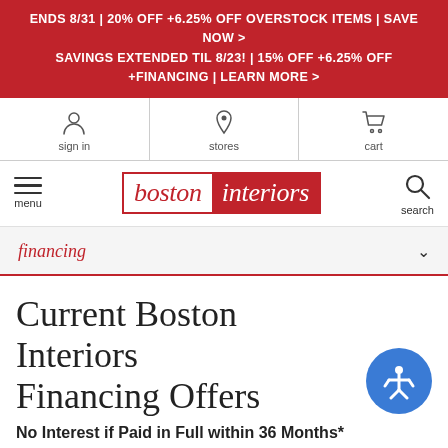ENDS 8/31 | 20% OFF +6.25% OFF OVERSTOCK ITEMS | SAVE NOW > SAVINGS EXTENDED TIL 8/23! | 15% OFF +6.25% OFF +FINANCING | LEARN MORE >
[Figure (screenshot): Navigation icon bar with sign in, stores, and cart icons]
[Figure (logo): Boston Interiors logo with hamburger menu and search icon]
financing
Current Boston Interiors Financing Offers
No Interest if Paid in Full within 36 Months*